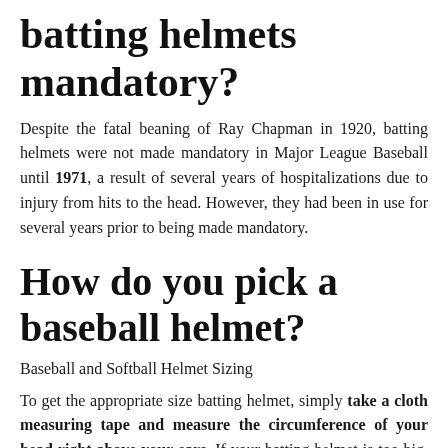batting helmets mandatory?
Despite the fatal beaning of Ray Chapman in 1920, batting helmets were not made mandatory in Major League Baseball until 1971, a result of several years of hospitalizations due to injury from hits to the head. However, they had been in use for several years prior to being made mandatory.
How do you pick a baseball helmet?
Baseball and Softball Helmet Sizing
To get the appropriate size batting helmet, simply take a cloth measuring tape and measure the circumference of your head right above your ears. If your batting helmet is too big, you can buy a padding kit that will give you a better fit around your head.